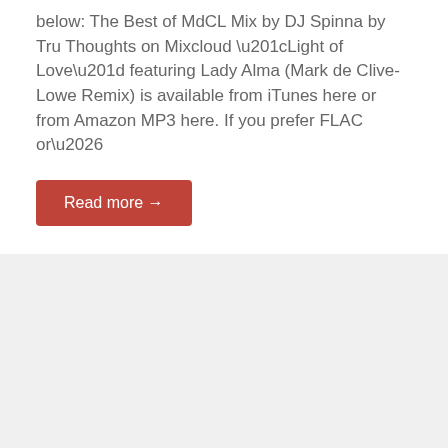below: The Best of MdCL Mix by DJ Spinna by Tru Thoughts on Mixcloud “Light of Love” featuring Lady Alma (Mark de Clive-Lowe Remix) is available from iTunes here or from Amazon MP3 here. If you prefer FLAC or…
Read more →